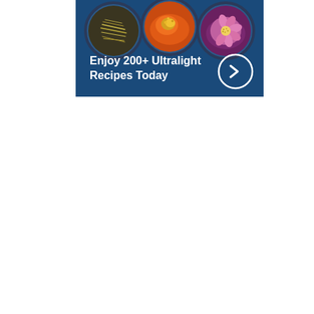[Figure (infographic): Advertisement banner with dark blue background showing three circular food photos at top (dried noodles/herbs, orange curry/spice, purple/pink flower dish) and white bold text 'Enjoy 200+ Ultralight Recipes Today' with a white circle arrow button on the right.]